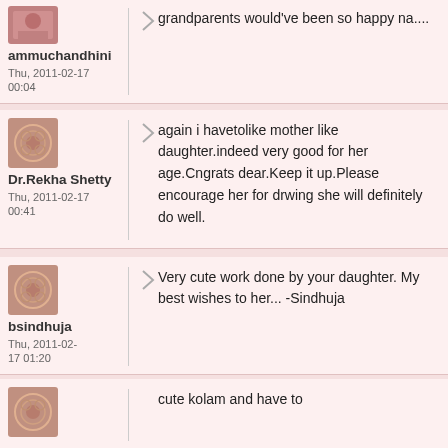grandparents would've been so happy na....
ammuchandhini
Thu, 2011-02-17 00:04
again i havetolike mother like daughter.indeed very good for her age.Cngrats dear.Keep it up.Please encourage her for drwing she will definitely do well.
Dr.Rekha Shetty
Thu, 2011-02-17
00:41
Very cute work done by your daughter. My best wishes to her... -Sindhuja
bsindhuja
Thu, 2011-02-17 01:20
cute kolam and have to